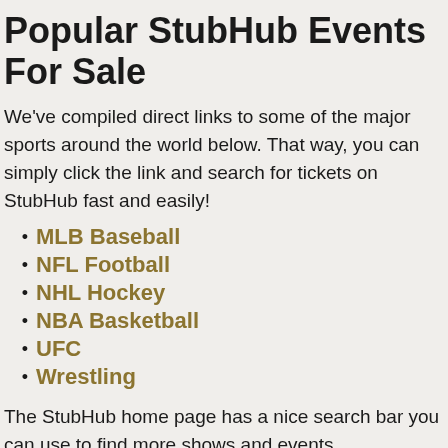Popular StubHub Events For Sale
We've compiled direct links to some of the major sports around the world below. That way, you can simply click the link and search for tickets on StubHub fast and easily!
MLB Baseball
NFL Football
NHL Hockey
NBA Basketball
UFC
Wrestling
The StubHub home page has a nice search bar you can use to find more shows and events.